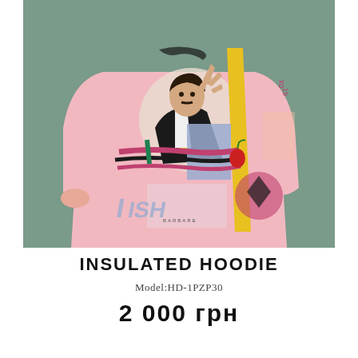[Figure (photo): Fashion product photo of a person wearing a pink oversized insulated hoodie with colorful graphic print featuring a portrait image and abstract art designs, on a grey-green background]
INSULATED HOODIE
Model:HD-1PZP30
2 000 грн